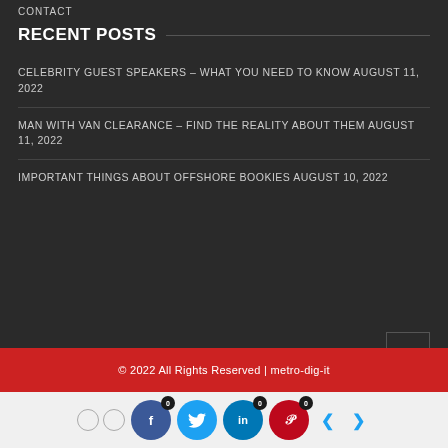CONTACT
RECENT POSTS
CELEBRITY GUEST SPEAKERS – WHAT YOU NEED TO KNOW AUGUST 11, 2022
MAN WITH VAN CLEARANCE – FIND THE REALITY ABOUT THEM AUGUST 11, 2022
IMPORTANT THINGS ABOUT OFFSHORE BOOKIES AUGUST 10, 2022
© 2022 All Rights Reserved | metro-dig-it